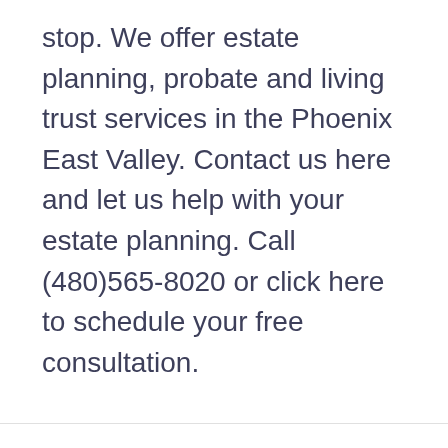stop. We offer estate planning, probate and living trust services in the Phoenix East Valley. Contact us here and let us help with your estate planning. Call (480)565-8020 or click here to schedule your free consultation.
← How to pay for nursing home care in Phoenix?